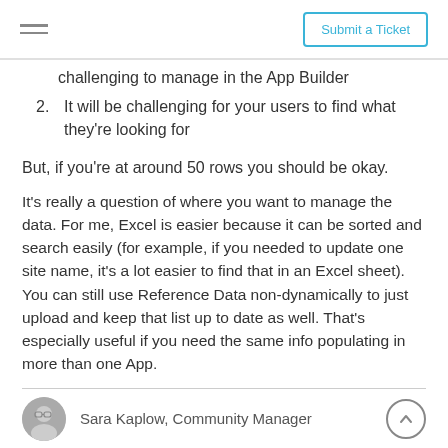Submit a Ticket
challenging to manage in the App Builder
2. It will be challenging for your users to find what they're looking for
But, if you're at around 50 rows you should be okay.
It's really a question of where you want to manage the data. For me, Excel is easier because it can be sorted and search easily (for example, if you needed to update one site name, it's a lot easier to find that in an Excel sheet). You can still use Reference Data non-dynamically to just upload and keep that list up to date as well. That's especially useful if you need the same info populating in more than one App.
Sara Kaplow, Community Manager